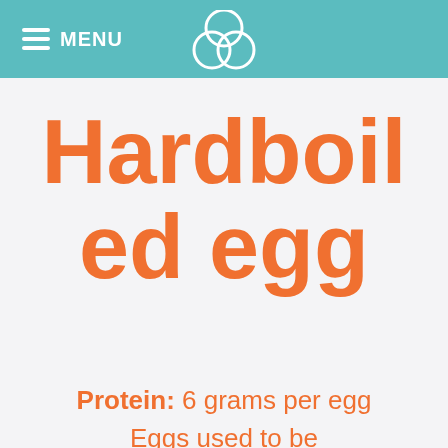MENU
Hardboiled egg
Protein: 6 grams per egg
Eggs used to be